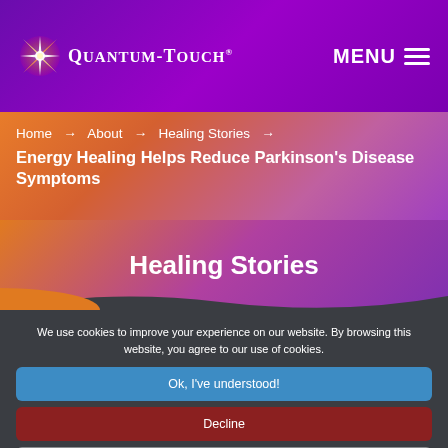[Figure (logo): Quantum-Touch logo with starburst icon and text]
MENU
Home → About → Healing Stories → Energy Healing Helps Reduce Parkinson's Disease Symptoms
Healing Stories
We use cookies to improve your experience on our website. By browsing this website, you agree to our use of cookies.
Ok, I've understood!
Decline
More Info